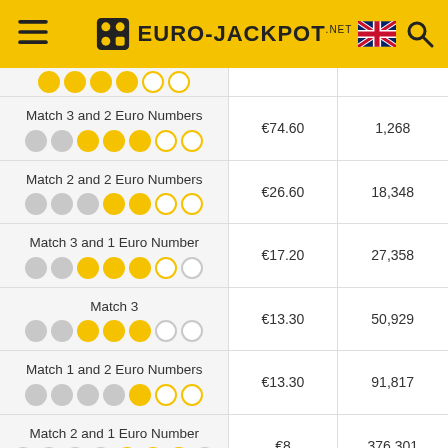EURO-JACKPOT.NET
| Match | Prize | Winners |
| --- | --- | --- |
| Match 3 and 2 Euro Numbers | €74.60 | 1,268 |
| Match 2 and 2 Euro Numbers | €26.60 | 18,348 |
| Match 3 and 1 Euro Number | €17.20 | 27,358 |
| Match 3 | €13.30 | 50,929 |
| Match 1 and 2 Euro Numbers | €13.30 | 91,817 |
| Match 2 and 1 Euro Number | €8 | 376,301 |
| Total |  | 507,053 |